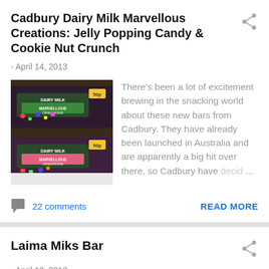Cadbury Dairy Milk Marvellous Creations: Jelly Popping Candy & Cookie Nut Crunch
- April 14, 2013
[Figure (photo): Two Cadbury Dairy Milk Marvellous Creations chocolate bar packages on a white surface]
There's been a lot of excitement brewing in the snacking world about these new bars from Cadbury. They have already been launched in Australia and are apparently a big hit over there, so Cadbury have decid…
22 comments
READ MORE
Laima Miks Bar
- April 13, 2013